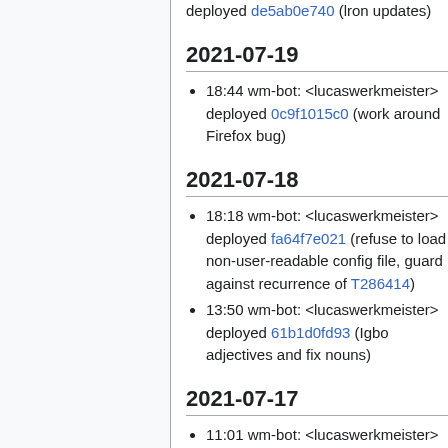deployed de5ab0e740 (lron updates)
2021-07-19
18:44 wm-bot: <lucaswerkmeister> deployed 0c9f1015c0 (work around Firefox bug)
2021-07-18
18:18 wm-bot: <lucaswerkmeister> deployed fa64f7e021 (refuse to load non-user-readable config file, guard against recurrence of T286414)
13:50 wm-bot: <lucaswerkmeister> deployed 61b1d0fd93 (Igbo adjectives and fix nouns)
2021-07-17
11:01 wm-bot: <lucaswerkmeister>